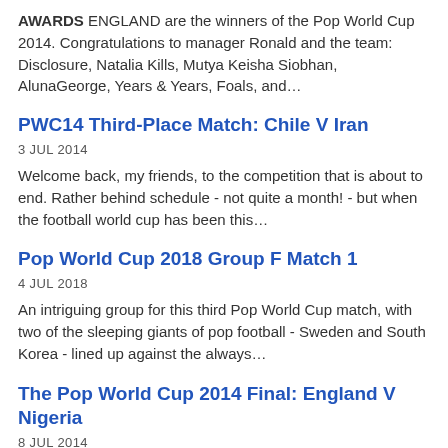AWARDS ENGLAND are the winners of the Pop World Cup 2014. Congratulations to manager Ronald and the team: Disclosure, Natalia Kills, Mutya Keisha Siobhan, AlunaGeorge, Years & Years, Foals, and…
PWC14 Third-Place Match: Chile V Iran
3 JUL 2014
Welcome back, my friends, to the competition that is about to end. Rather behind schedule - not quite a month! - but when the football world cup has been this…
Pop World Cup 2018 Group F Match 1
4 JUL 2018
An intriguing group for this third Pop World Cup match, with two of the sleeping giants of pop football - Sweden and South Korea - lined up against the always…
The Pop World Cup 2014 Final: England V Nigeria
8 JUL 2014
At last! The anthems are sung, the teams are on the pitch, and…